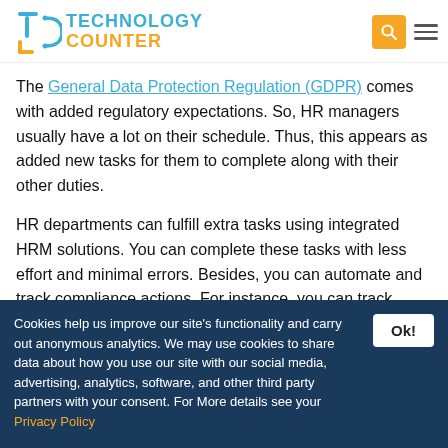Technology Counter
The General Data Protection Regulation (GDPR) comes with added regulatory expectations. So, HR managers usually have a lot on their schedule. Thus, this appears as added new tasks for them to complete along with their other duties.
HR departments can fulfill extra tasks using integrated HRM solutions. You can complete these tasks with less effort and minimal errors. Besides, you can automate and track compliance actions. For instance, you can track permission and manage access requests with HRM
Cookies help us improve our site's functionality and carry out anonymous analytics. We may use cookies to share data about how you use our site with our social media, advertising, analytics, software, and other third party partners with your consent. For More details see your Privacy Policy